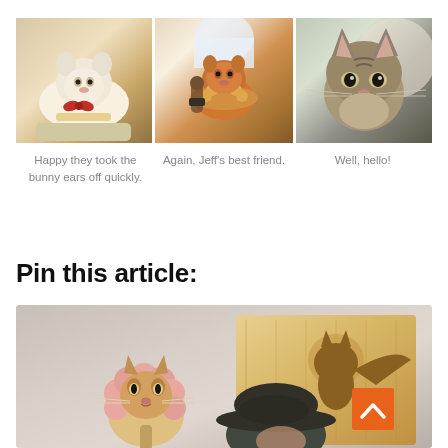[Figure (photo): Three cat photos in a horizontal strip: 1) White fluffy cat lying down with red bow, 2) Orange cat wearing costume with person, 3) Tabby cat close-up looking at camera]
Happy they took the bunny ears off quickly.
Again, Jeff's best friend.
Well, hello!
Pin this article:
[Figure (photo): Photo of a cat wearing a lion mane costume, positioned in front of a wooden board with a cat silhouette cutout. A person wearing a hat is partially visible.]